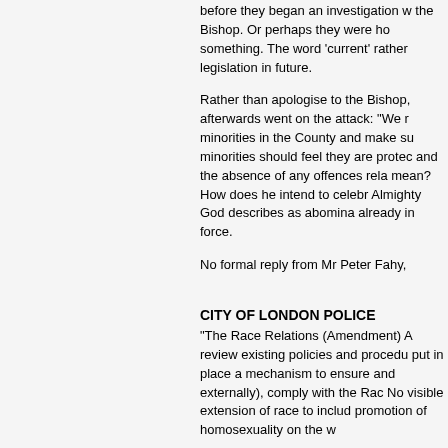before they began an investigation w the Bishop. Or perhaps they were ho something. The word 'current' rather legislation in future.
Rather than apologise to the Bishop, afterwards went on the attack: "We r minorities in the County and make su minorities should feel they are protec and the absence of any offences rela mean? How does he intend to celebr Almighty God describes as abomina already in force.
No formal reply from Mr Peter Fahy,
CITY OF LONDON POLICE
"The Race Relations (Amendment) A review existing policies and procedu put in place a mechanism to ensure and externally), comply with the Rac No visible extension of race to includ promotion of homosexuality on the w
No reply from Mr Frank Armstong, C
CLEVELAND POLICE